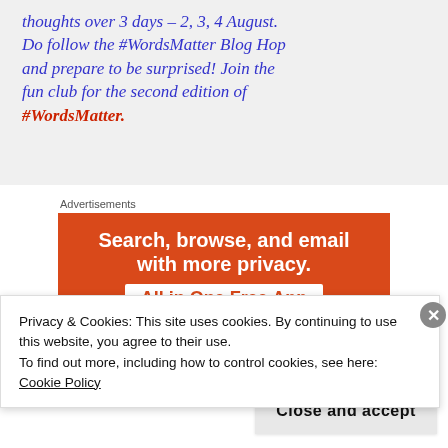thoughts over 3 days – 2, 3, 4 August. Do follow the #WordsMatter Blog Hop and prepare to be surprised! Join the fun club for the second edition of #WordsMatter.
Advertisements
[Figure (infographic): Orange advertisement banner reading 'Search, browse, and email with more privacy. All in One Free App']
Privacy & Cookies: This site uses cookies. By continuing to use this website, you agree to their use.
To find out more, including how to control cookies, see here: Cookie Policy
Close and accept